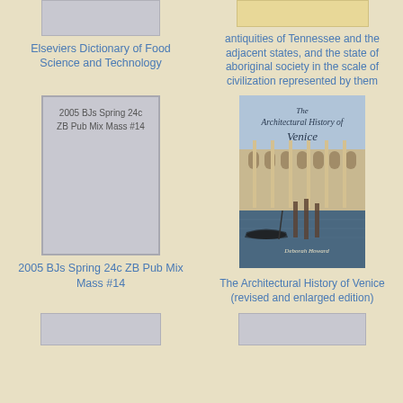[Figure (illustration): Partially visible gray book cover placeholder at top left]
Elseviers Dictionary of Food Science and Technology
[Figure (illustration): Partially visible yellow/tan book cover placeholder at top right]
antiquities of Tennessee and the adjacent states, and the state of aboriginal society in the scale of civilization represented by them
[Figure (illustration): Gray placeholder book cover with text: 2005 BJs Spring 24c ZB Pub Mix Mass #14]
2005 BJs Spring 24c ZB Pub Mix Mass #14
[Figure (photo): Book cover of The Architectural History of Venice by Deborah Howard, showing a photo of Venice canals and architecture]
The Architectural History of Venice (revised and enlarged edition)
[Figure (illustration): Partially visible gray book cover at bottom left]
[Figure (illustration): Partially visible gray book cover at bottom right]